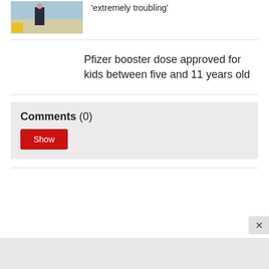[Figure (photo): Small thumbnail photo of a person in a suit on a beach/waterfront background]
'extremely troubling'
Pfizer booster dose approved for kids between five and 11 years old
Comments (0)
Show